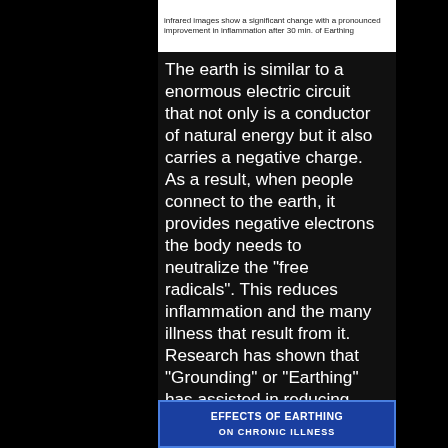[Figure (photo): Partial image with caption text: 'infrared images show a significant change with a pronounced improvement in inflammation after 30 min. of Earthing']
The earth is similar to a enormous electric circuit that not only is a conductor of natural energy but it also carries a negative charge.  As a result, when people connect to the earth, it provides negative electrons the body needs to neutralize the "free radicals". This reduces inflammation and the many illness that result from it. Research has shown that "Grounding" or "Earthing" has assisted in reducing pain in muscles and joints, blood pressure, stress levels, snoring, recovery time from injury, circulation, and a series of other ailments that have plagued the body.
[Figure (infographic): Blue banner with text 'EFFECTS OF EARTHING' and additional text below partially visible]